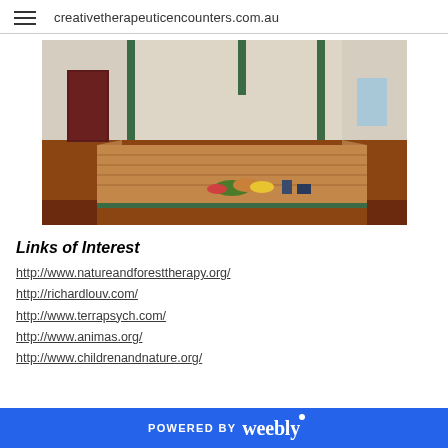creativetherapeuticencounters.com.au
[Figure (photo): Interior of a hall or community building showing a raised wooden stage platform with green-trimmed support columns, brown wainscoting, and some items placed on the stage floor]
Links of Interest
http://www.natureandforesttherapy.org/
http://richardlouv.com/
http://www.terrapsych.com/
http://www.animas.org/
http://www.childrenandnature.org/
POWERED BY weebly